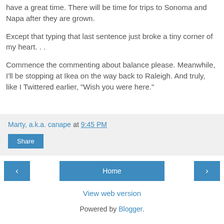have a great time. There will be time for trips to Sonoma and Napa after they are grown.
Except that typing that last sentence just broke a tiny corner of my heart. . .
Commence the commenting about balance please. Meanwhile, I'll be stopping at Ikea on the way back to Raleigh. And truly, like I Twittered earlier, "Wish you were here."
Marty, a.k.a. canape at 9:45 PM
Share
Home | View web version | Powered by Blogger.